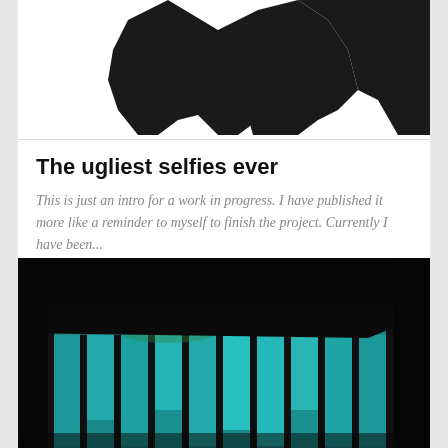[Figure (photo): Partial silhouette image of a person or figure cropped at top of card, shown in black and white against white background]
The ugliest selfies ever
This is just an intro for a work in progress. I have published it more like a reminder to myself to finish the project. Currently I have been...
[Figure (photo): Interior architectural photograph showing large floor-to-ceiling windows with teal/cyan light filtering through vertical window panes, dark ceiling and frame visible, trees seen outside]